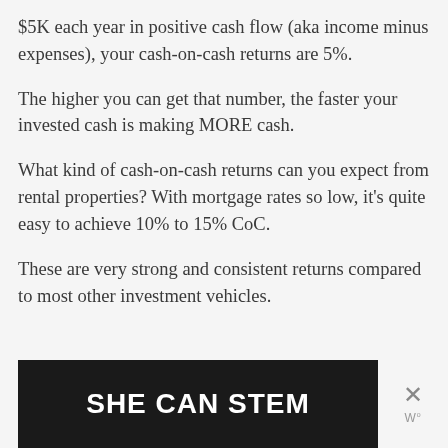$5K each year in positive cash flow (aka income minus expenses), your cash-on-cash returns are 5%.
The higher you can get that number, the faster your invested cash is making MORE cash.
What kind of cash-on-cash returns can you expect from rental properties? With mortgage rates so low, it's quite easy to achieve 10% to 15% CoC.
These are very strong and consistent returns compared to most other investment vehicles.
[Figure (other): Advertisement banner with dark background reading SHE CAN STEM in bold white text, with a close (X) button and a W logo on the right side]